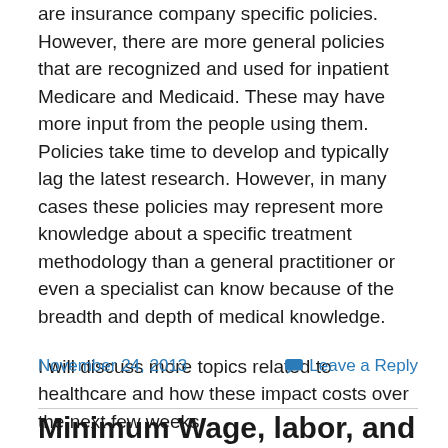are insurance company specific policies. However, there are more general policies that are recognized and used for inpatient Medicare and Medicaid. These may have more input from the people using them. Policies take time to develop and typically lag the latest research. However, in many cases these policies may represent more knowledge about a specific treatment methodology than a general practitioner or even a specialist can know because of the breadth and depth of medical knowledge.
I will discuss more topics related to healthcare and how these impact costs over the next few weeks.
November 24, 2013    Leave a Reply
Minimum Wage, labor, and